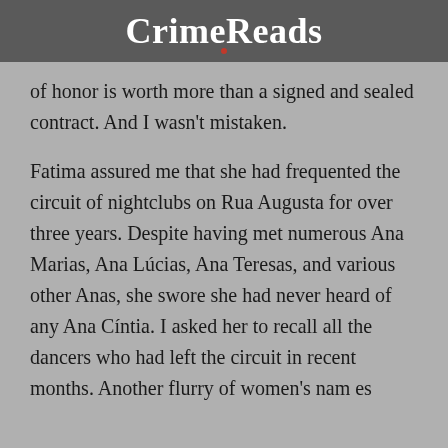CrimeReads
of honor is worth more than a signed and sealed contract. And I wasn't mistaken.
Fatima assured me that she had frequented the circuit of nightclubs on Rua Augusta for over three years. Despite having met numerous Ana Marias, Ana Lúcias, Ana Teresas, and various other Anas, she swore she had never heard of any Ana Cíntia. I asked her to recall all the dancers who had left the circuit in recent months. Another flurry of women's names